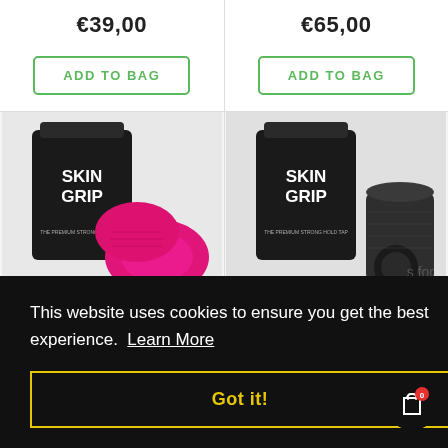€39,00
€65,00
ADD TO BAG
ADD TO BAG
[Figure (photo): Skin Grip product packaging (black pouch) with pink grip accessories]
[Figure (photo): Skin Grip product packaging (black pouch) with dark/black grip accessories]
This website uses cookies to ensure you get the best experience. Learn More
Got it!
s for
[Figure (illustration): Shopping bag cart icon with red badge showing 0]